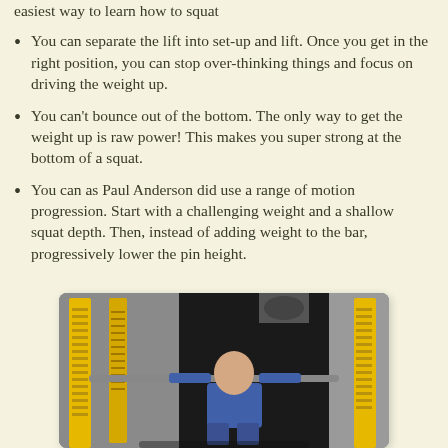easiest way to learn how to squat
You can separate the lift into set-up and lift. Once you get in the right position, you can stop over-thinking things and focus on driving the weight up.
You can't bounce out of the bottom. The only way to get the weight up is raw power! This makes you super strong at the bottom of a squat.
You can as Paul Anderson did use a range of motion progression. Start with a challenging weight and a shallow squat depth. Then, instead of adding weight to the bar, progressively lower the pin height.
[Figure (photo): A bald man in a blue shirt performing a squat in a gym with yellow squat rack uprights visible on either side.]